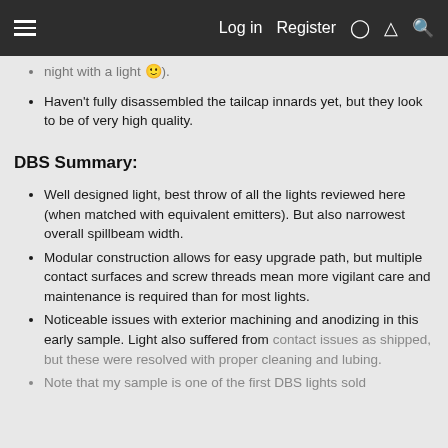Log in  Register
night with a light 🙂).
Haven't fully disassembled the tailcap innards yet, but they look to be of very high quality.
DBS Summary:
Well designed light, best throw of all the lights reviewed here (when matched with equivalent emitters). But also narrowest overall spillbeam width.
Modular construction allows for easy upgrade path, but multiple contact surfaces and screw threads mean more vigilant care and maintenance is required than for most lights.
Noticeable issues with exterior machining and anodizing in this early sample. Light also suffered from contact issues as shipped, but these were resolved with proper cleaning and lubing.
Note that my sample is one of the first DBS lights sold